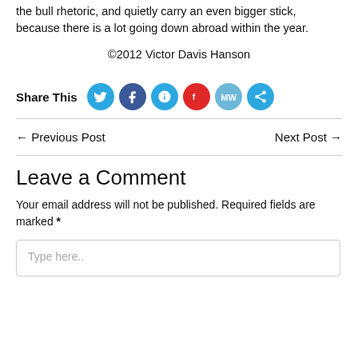the bull rhetoric, and quietly carry an even bigger stick, because there is a lot going down abroad within the year.
©2012 Victor Davis Hanson
Share This [social icons: Twitter, Facebook, Parler, Flipboard, MW, Share]
← Previous Post
Next Post →
Leave a Comment
Your email address will not be published. Required fields are marked *
Type here..